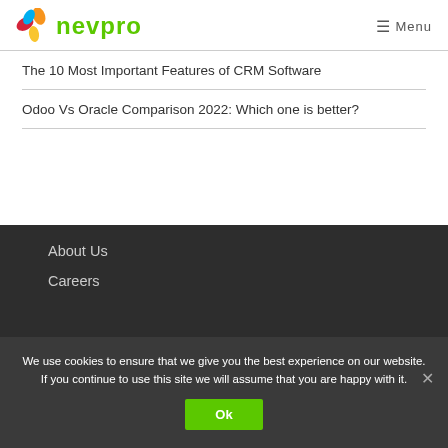nevpro | Menu
The 10 Most Important Features of CRM Software
Odoo Vs Oracle Comparison 2022: Which one is better?
About Us
Careers
We use cookies to ensure that we give you the best experience on our website. If you continue to use this site we will assume that you are happy with it.